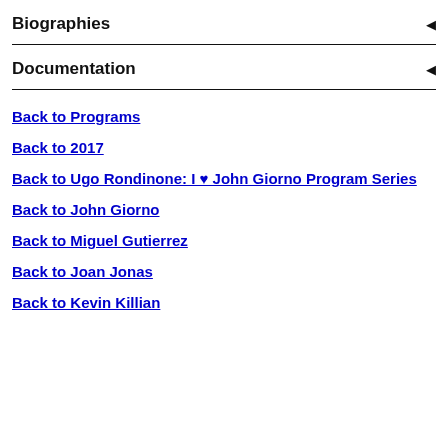Biographies
Documentation
Back to Programs
Back to 2017
Back to Ugo Rondinone: I ♥ John Giorno Program Series
Back to John Giorno
Back to Miguel Gutierrez
Back to Joan Jonas
Back to Kevin Killian